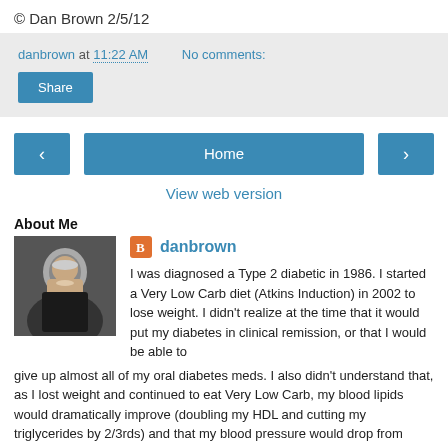© Dan Brown 2/5/12
danbrown at 11:22 AM   No comments:
Share
< Home >
View web version
About Me
danbrown
I was diagnosed a Type 2 diabetic in 1986. I started a Very Low Carb diet (Atkins Induction) in 2002 to lose weight. I didn't realize at the time that it would put my diabetes in clinical remission, or that I would be able to give up almost all of my oral diabetes meds. I also didn't understand that, as I lost weight and continued to eat Very Low Carb, my blood lipids would dramatically improve (doubling my HDL and cutting my triglycerides by 2/3rds) and that my blood pressure would drop from